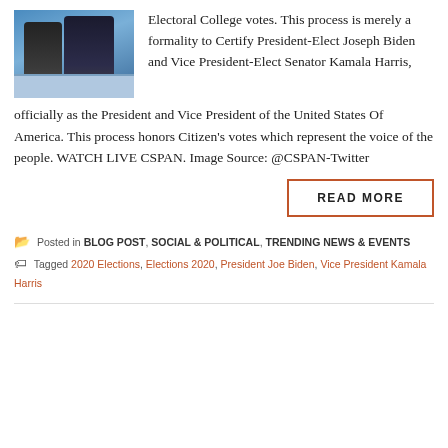[Figure (photo): Photo of two people at a podium/lectern, appears to be a political event, blue background]
Electoral College votes. This process is merely a formality to Certify President-Elect Joseph Biden and Vice President-Elect Senator Kamala Harris, officially as the President and Vice President of the United States Of America. This process honors Citizen's votes which represent the voice of the people. WATCH LIVE CSPAN. Image Source: @CSPAN-Twitter
READ MORE
Posted in BLOG POST, SOCIAL & POLITICAL, TRENDING NEWS & EVENTS   Tagged 2020 Elections, Elections 2020, President Joe Biden, Vice President Kamala Harris